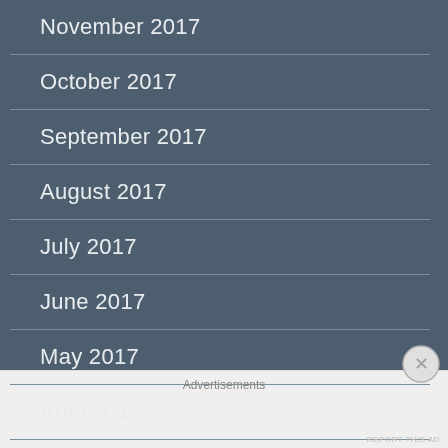November 2017
October 2017
September 2017
August 2017
July 2017
June 2017
May 2017
April 2017
March 2017
Advertisements